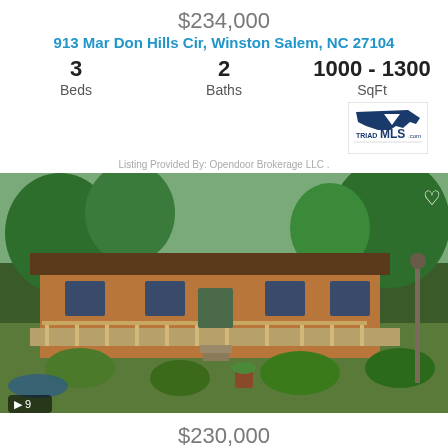$234,000
913 Mar Don Hills Cir, Winston Salem, NC 27104
3 Beds  2 Baths  1000 - 1300 SqFt
[Figure (logo): Triad MLS logo with North Carolina outline and triangle]
Listing Provided By: Opendoor Brokerage LLC .
[Figure (photo): Exterior photo of a ranch-style home with wraparound porch, wooden siding, surrounded by lush garden plantings and trees. Photo count badge shows 9 images.]
$230,000
521 Lake Dr, Winston Salem, NC 27107